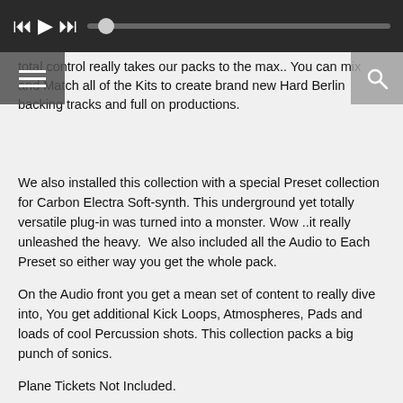[Figure (other): Media player bar with previous, play, next buttons and a progress slider on a dark background]
total control really takes our packs to the max.. You can mix and Match all of the Kits to create brand new Hard Berlin backing tracks and full on productions.
We also installed this collection with a special Preset collection for Carbon Electra Soft-synth. This underground yet totally versatile plug-in was turned into a monster. Wow ..it really unleashed the heavy.  We also included all the Audio to Each Preset so either way you get the whole pack.
On the Audio front you get a mean set of content to really dive into, You get additional Kick Loops, Atmospheres, Pads and loads of cool Percussion shots. This collection packs a big punch of sonics.
Plane Tickets Not Included.
Any references to any brands on this site/page, including reference to brands and instruments, are provided for description purposes only. For example references to instrument brands are provided to describe the sound of the instrument and/or the instrument used in the sample. Loopmasters do not have (nor do they claim) any association with or endorsement by these brands. Any goodwill attached to those brands rest with the brand owner. Loopmasters or its Suppliers do not accept any liability in relation to the content of the sample or the accuracy of the description. "RHODES" is a registered trademark of Joseph A Brandstatter.